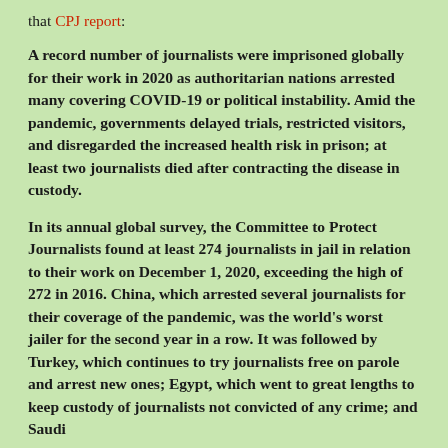that CPJ report:
A record number of journalists were imprisoned globally for their work in 2020 as authoritarian nations arrested many covering COVID-19 or political instability. Amid the pandemic, governments delayed trials, restricted visitors, and disregarded the increased health risk in prison; at least two journalists died after contracting the disease in custody.
In its annual global survey, the Committee to Protect Journalists found at least 274 journalists in jail in relation to their work on December 1, 2020, exceeding the high of 272 in 2016. China, which arrested several journalists for their coverage of the pandemic, was the world's worst jailer for the second year in a row. It was followed by Turkey, which continues to try journalists free on parole and arrest new ones; Egypt, which went to great lengths to keep custody of journalists not convicted of any crime; and Saudi